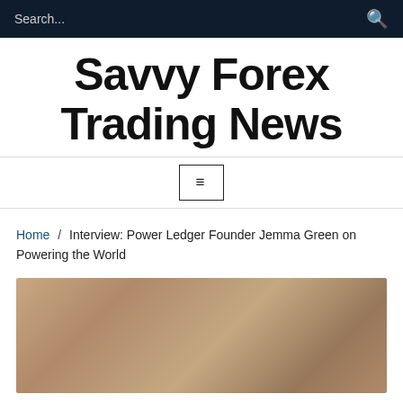Search...
Savvy Forex Trading News
≡
Home / Interview: Power Ledger Founder Jemma Green on Powering the World
[Figure (photo): Blurred photo, brownish warm tones, appears to be a portrait or event image]